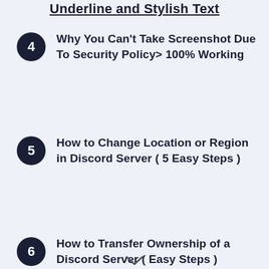Underline and Stylish Text
4 Why You Can't Take Screenshot Due To Security Policy> 100% Working
5 How to Change Location or Region in Discord Server ( 5 Easy Steps )
6 How to Transfer Ownership of a Discord Server ( Easy Steps )
7 How to reset discord server or Reset discord Voice server ( 5 Steps )